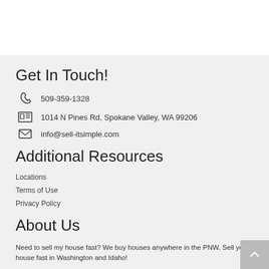Get In Touch!
509-359-1328
1014 N Pines Rd, Spokane Valley, WA 99206
info@sell-itsimple.com
Additional Resources
Locations
Terms of Use
Privacy Policy
About Us
Need to sell my house fast? We buy houses anywhere in the PNW. Sell your house fast in Washington and Idaho!